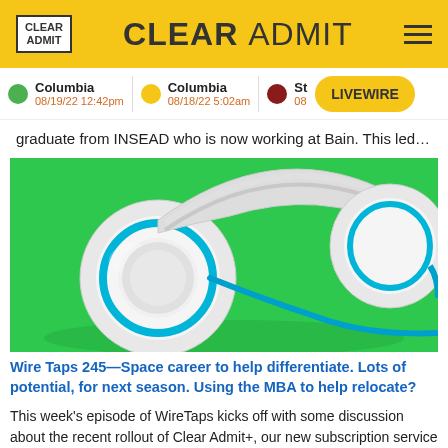CLEAR ADMIT
graduate from INSEAD who is now working at Bain. This led…
[Figure (photo): White headphones on a bright green background, viewed from above at an angle]
Wire Taps 245—Space career to help differentiate. Lots of potential, for next season. Using the MBA to help relocate?
This week's episode of WireTaps kicks off with some discussion about the recent rollout of Clear Admit+, our new subscription service (which we are very excited to have launched!). Clear